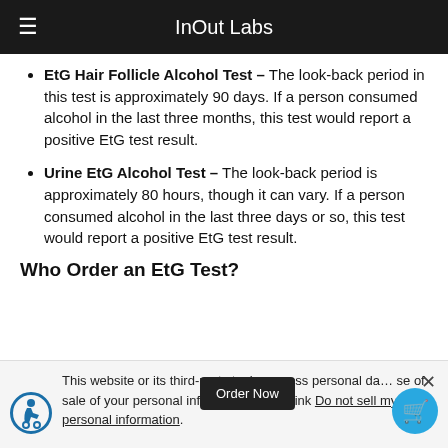InOut Labs
EtG Hair Follicle Alcohol Test – The look-back period in this test is approximately 90 days. If a person consumed alcohol in the last three months, this test would report a positive EtG test result.
Urine EtG Alcohol Test – The look-back period is approximately 80 hours, though it can vary. If a person consumed alcohol in the last three days or so, this test would report a positive EtG test result.
Who Order an EtG Test?
This website or its third-party tools process personal da... se of sale of your personal inform... y... ing the link Do not sell my personal information.